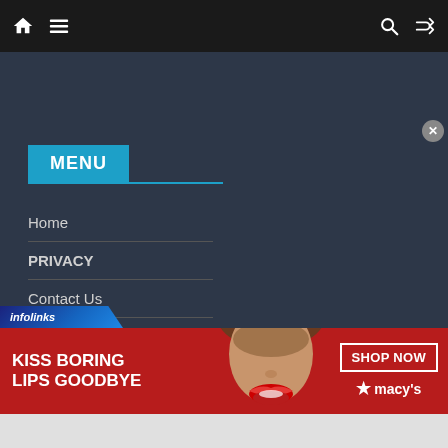Navigation bar with home icon, menu icon, search icon, shuffle icon
MENU
Home
PRIVACY
Contact Us
[Figure (other): Infolinks badge in bottom-left corner]
[Figure (other): Advertisement banner: KISS BORING LIPS GOODBYE with woman's face and SHOP NOW / macy's branding on red background]